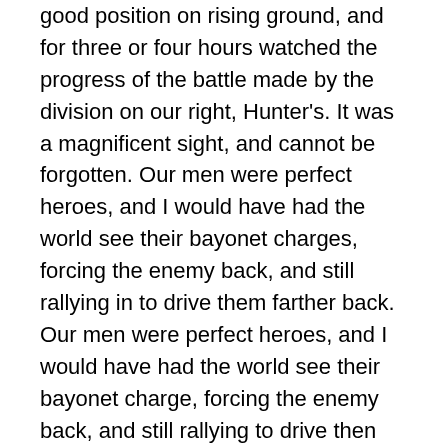good position on rising ground, and for three or four hours watched the progress of the battle made by the division on our right, Hunter's. It was a magnificent sight, and cannot be forgotten. Our men were perfect heroes, and I would have had the world see their bayonet charges, forcing the enemy back, and still rallying in to drive them farther back. Our men were perfect heroes, and I would have had the world see their bayonet charge, forcing the enemy back, and still rallying to drive then farther back. I was within 200 yards of one of our 32 pounder rifled canon, and when the enemy came out in any considerable force on the hill opposite, this gun would drop a shell among them, that would scatter them like sheep. The captain and myself were obliged to go back near Centerville to get waster, as the wells were guarded to keep the water for the wounded. We had just obtained water, and about giving some to our horses, when a stampede took place, soldiers,